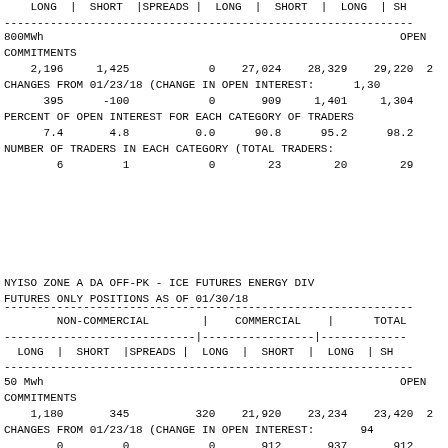| LONG | SHORT | SPREADS | LONG | SHORT | LONG | SH |
| --- | --- | --- | --- | --- | --- | --- |
| 2,196 | 1,425 | 0 | 27,024 | 28,329 | 29,220 | 2... |
800MWh
COMMITMENTS
    2,196      1,425             0    27,024    28,329    29,220  2
CHANGES FROM 01/23/18 (CHANGE IN OPEN INTEREST:      1,30
      395       -100             0       909     1,401     1,304
PERCENT OF OPEN INTEREST FOR EACH CATEGORY OF TRADERS
      7.4        4.8           0.0      90.8      95.2      98.2
NUMBER OF TRADERS IN EACH CATEGORY (TOTAL TRADERS:
        6          1             0        23        20        29
NYISO ZONE A DA OFF-PK - ICE FUTURES ENERGY DIV
FUTURES ONLY POSITIONS AS OF 01/30/18
| NON-COMMERCIAL | COMMERCIAL | TOTAL |
| --- | --- | --- |
| LONG | SHORT | SPREADS | LONG | SHORT | LONG | SH |
| 1,180 | 345 | 320 | 21,920 | 23,234 | 23,420 | 2... |
50 Mwh
COMMITMENTS
    1,180        345           320    21,920    23,234    23,420  2
CHANGES FROM 01/23/18 (CHANGE IN OPEN INTEREST:        94
        0          0             0       912       937       912